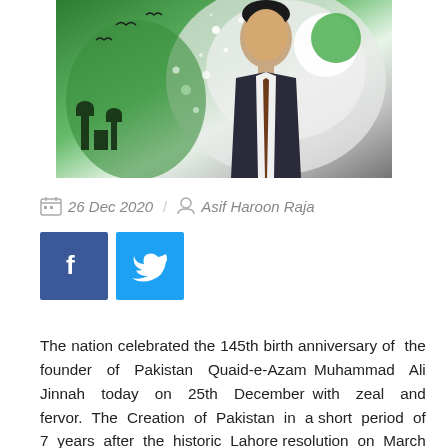[Figure (photo): Hero image showing Quaid-e-Azam Muhammad Ali Jinnah with Pakistan-themed background including green and white colors, moon and star motifs, and patriotic imagery.]
26 Dec 2020 / Asif Haroon Raja
[Figure (other): Social media share buttons: Facebook (blue) and Twitter (light blue)]
The nation celebrated the 145th birth anniversary of the founder of Pakistan Quaid-e-Azam Muhammad Ali Jinnah today on 25th December with zeal and fervor. The Creation of Pakistan in a short period of 7 years after the historic Lahore resolution on March 23, 1940 was a miracle of the 20th century. The Muslims of India suffering under the yoke of British-Hindu combine since 1757 had...